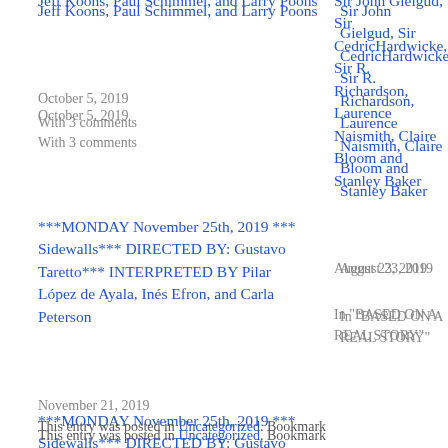Jeff Koons, Paul Schimmel, and Larry Poons
October 5, 2019
With 3 comments
Sir John Gielgud, Sir CedricHardwicke, Sir R. Richardson, Laurence Naismith, Claire Bloom and Stanley Baker
August 23, 2019
In "BASED ON A REAL STORY"
***MONDAY November 25th, 2019 *** Sidewalls*** DIRECTED BY: Gustavo Taretto*** INTERPRETED BY Pilar López de Ayala, Inés Efron, and Carla Peterson
November 21, 2019
This entry was posted in Uncategorized. Bookmark